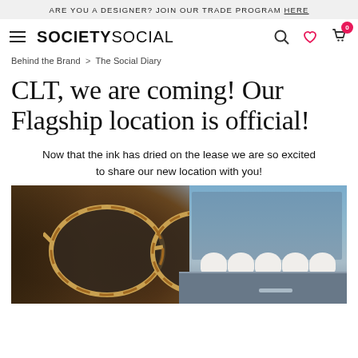ARE YOU A DESIGNER? JOIN OUR TRADE PROGRAM HERE
SOCIETY SOCIAL
Behind the Brand > The Social Diary
CLT, we are coming! Our Flagship location is official!
Now that the ink has dried on the lease we are so excited to share our new location with you!
[Figure (photo): Person wearing tortoiseshell sunglasses with dark hair, and on the right side white construction helmets arranged on a shelf above a grey cabinet, indicating a store under construction.]